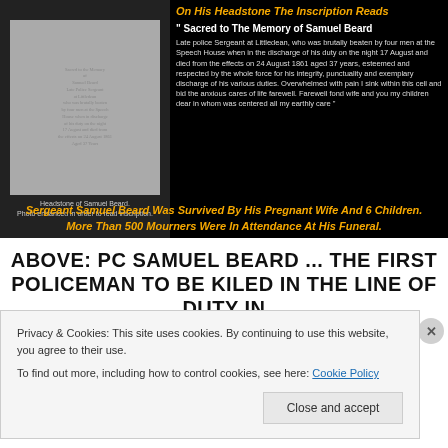[Figure (photo): Headstone of Samuel Beard, photo enhanced in order to read inscription. Shows an old weathered gravestone with faded text.]
Headstone of Samuel Beard.
Photo enhanced in order to read inscription.
On His Headstone The Inscription Reads
" Sacred to The Memory of Samuel Beard
Late police Sergeant at Littledean, who was brutally beaten by four men at the Speech House when in the discharge of his duty on the night 17 August and died from the effects on 24 August 1861 aged 37 years, esteemed and respected by the whole force for his integrity, punctuality and exemplary discharge of his various duties. Overwhelmed with pain I sink within this cell and bid the anxious cares of life farewell. Farewell fond wife and you my children dear in whom was centered all my earthly care "
Sergeant Samuel Beard Was Survived By His Pregnant Wife And 6 Children. More Than 500 Mourners Were In Attendance At His Funeral.
ABOVE: PC SAMUEL BEARD ... THE FIRST POLICEMAN TO BE KILED IN THE LINE OF DUTY IN
Privacy & Cookies: This site uses cookies. By continuing to use this website, you agree to their use.
To find out more, including how to control cookies, see here: Cookie Policy
Close and accept